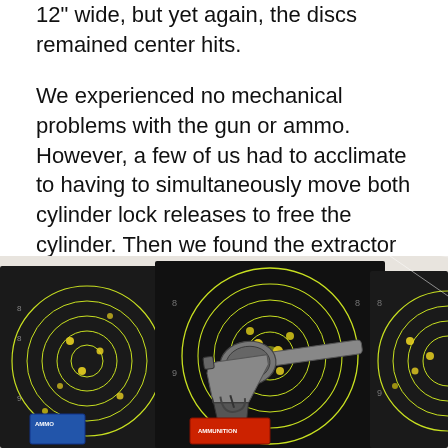12" wide, but yet again, the discs remained center hits.
We experienced no mechanical problems with the gun or ammo. However, a few of us had to acclimate to having to simultaneously move both cylinder lock releases to free the cylinder. Then we found the extractor rod a bit short—removing fired cases required using our fingernails or shaking the gun.
[Figure (photo): Photo of a revolver handgun laid on shooting targets. The targets are black with bright yellow-green circular scoring rings and visible bullet holes. Multiple targets are displayed overlapping each other, with ammunition boxes also visible in the lower portion of the image.]